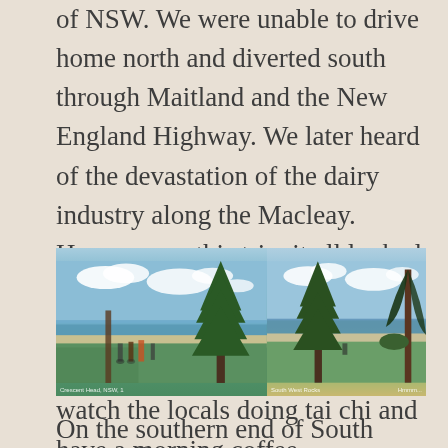of NSW. We were unable to drive home north and diverted south through Maitland and the New England Highway. We later heard of the devastation of the dairy industry along the Macleay. However on this trip, it all looked green and prosperous. South West Rocks is a thriving holiday and tourist town and we stopped to watch the locals doing tai chi and have a morning coffee.
[Figure (photo): Two side-by-side photos of South West Rocks showing coastal scenery with tall pine trees, green grass, sandy beach, and blue sky with clouds. People are visible in the left photo doing activities on the grass near the shore.]
On the southern end of South West Rocks is a protected harbour, Trial Bay, named after the brig Trial which sank there in 1818. More infamously,